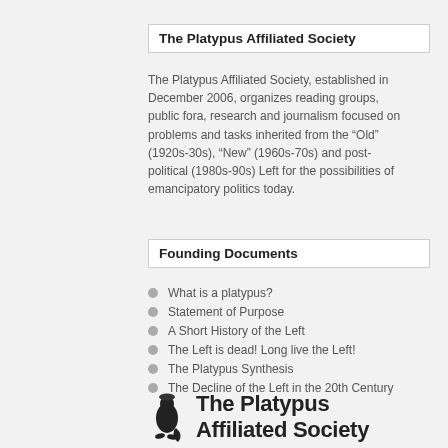The Platypus Affiliated Society
The Platypus Affiliated Society, established in December 2006, organizes reading groups, public fora, research and journalism focused on problems and tasks inherited from the “Old” (1920s-30s), “New” (1960s-70s) and post-political (1980s-90s) Left for the possibilities of emancipatory politics today.
Founding Documents
What is a platypus?
Statement of Purpose
A Short History of the Left
The Left is dead! Long live the Left!
The Platypus Synthesis
The Decline of the Left in the 20th Century
[Figure (logo): The Platypus Affiliated Society logo with animal silhouette and organization name]